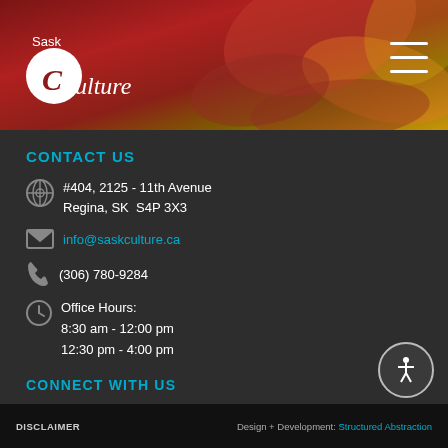[Figure (logo): SaskCulture logo with white C circle and italic text on dark red gradient header background]
CONTACT US
#404, 2125 - 11th Avenue
Regina, SK  S4P 3X3
info@saskculture.ca
(306) 780-9284
Office Hours:
8:30 am - 12:00 pm
12:30 pm - 4:00 pm
CONNECT WITH US
[Figure (illustration): Social media icons: Twitter, YouTube, Facebook, Instagram as white icons on black circles]
DISCLAIMER | Design + Development: Structured Abstraction